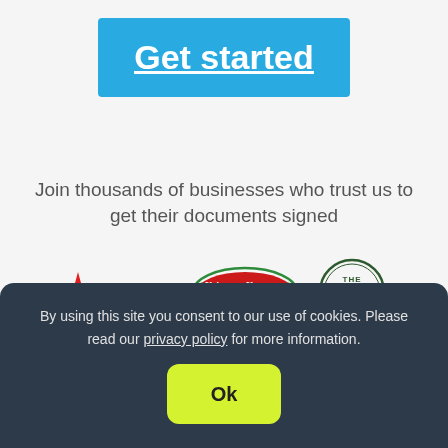Get started
Join thousands of businesses who trust us to get their documents signed
[Figure (logo): Aardman logo - red star with Aardman text]
[Figure (logo): Krispy Kreme Doughnuts logo]
[Figure (logo): The Body Shop logo - circular green badge]
By using this site you consent to our use of cookies. Please read our privacy policy for more information.
Ok